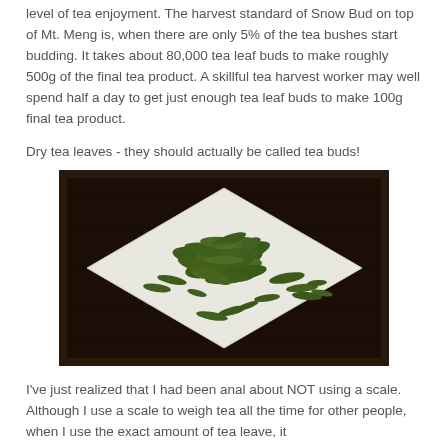level of tea enjoyment. The harvest standard of Snow Bud on top of Mt. Meng is, when there are only 5% of the tea bushes start budding. It takes about 80,000 tea leaf buds to make roughly 500g of the final tea product. A skillful tea harvest worker may well spend half a day to get just enough tea leaf buds to make 100g final tea product.
Dry tea leaves - they should actually be called tea buds!
[Figure (photo): Photograph of dry green tea buds (Snow Bud) arranged on a white paper on a dark wooden surface]
I've just realized that I had been anal about NOT using a scale. Although I use a scale to weigh tea all the time for other people, when I use the exact amount of tea leave, it